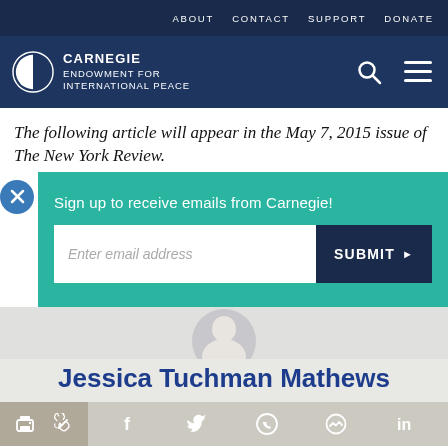ABOUT   CONTACT   SUPPORT   DONATE
[Figure (logo): Carnegie Endowment for International Peace logo with circular icon and white text]
The following article will appear in the May 7, 2015 issue of The New York Review.
Sign up to receive emails from Carnegie!
Enter email address
SUBMIT ▶
[Figure (photo): Partial photo of Jessica Tuchman Mathews, circular cropped headshot]
Jessica Tuchman Mathews
Print  Link  Facebook  Twitter  WhatsApp  Messenger  LinkedIn